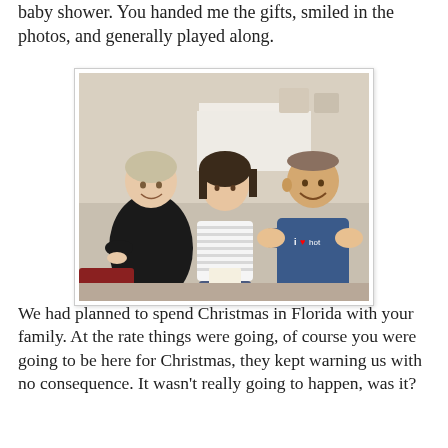baby shower. You handed me the gifts, smiled in the photos, and generally played along.
[Figure (photo): Three people sitting at a baby shower: a woman in black on the left laughing, a young woman in a striped shirt in the middle, and a muscular man in a blue t-shirt on the right with arms crossed, smiling.]
We had planned to spend Christmas in Florida with your family. At the rate things were going, of course you were going to be here for Christmas, they kept warning us with no consequence. It wasn't really going to happen, was it?
Things were changing in Afghanistan. The command over there were asking for more troops. The president was stalling on his decision. December 1st there was a press conference. He announced he would indeed be sending more troops (although not the number that was requested...)